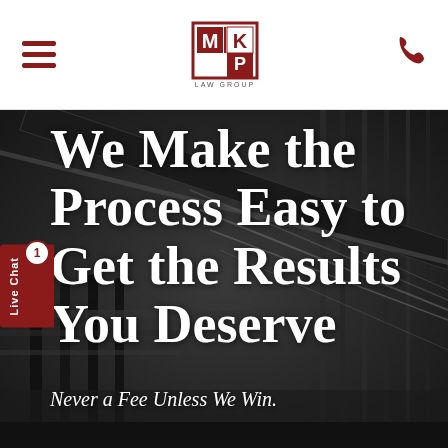MKP Law Group — navigation header with hamburger menu and phone icon
[Figure (screenshot): Black and white photo of an industrial bridge/overpass structure with railings and a highway below, used as hero background]
We Make the Process Easy to Get the Results You Deserve
Never a Fee Unless We Win.
Live Chat 1